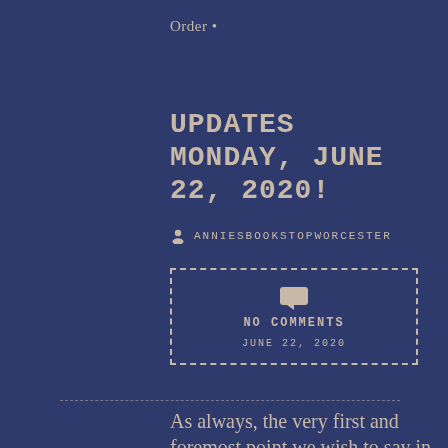Order •
UPDATES MONDAY, JUNE 22, 2020!
ANNIESBOOKSTOPWORCESTER
NO COMMENTS
JUNE 22, 2020
As always, the very first and foremost point we wish to say in